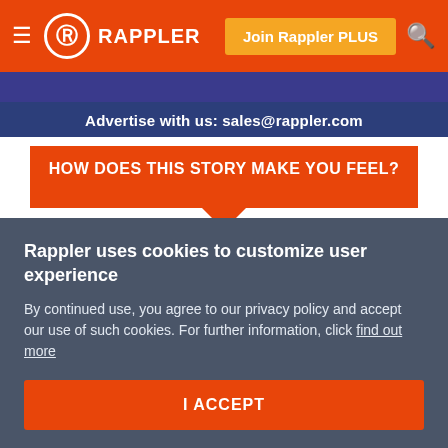RAPPLER
Advertise with us: sales@rappler.com
HOW DOES THIS STORY MAKE YOU FEEL?
[Figure (infographic): Six emotion circles: Happy (yellow-green), Sad (teal), Angry (red), Don't Care (gray), Inspired (green), Afraid (yellow)]
Rappler uses cookies to customize user experience
By continued use, you agree to our privacy policy and accept our use of such cookies. For further information, click find out more
I ACCEPT